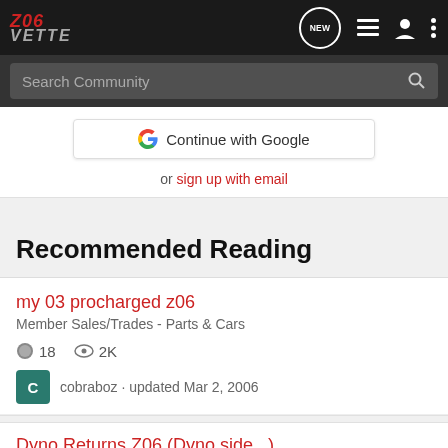z06vette - navigation bar with logo, NEW, list, profile, and menu icons
Search Community
Continue with Google
or sign up with email
Recommended Reading
my 03 procharged z06
Member Sales/Trades - Parts & Cars
18  2K
cobraboz · updated Mar 2, 2006
Dyno Returns Z06 (Dyno side...)